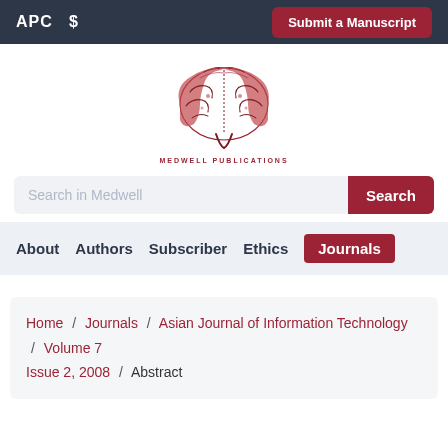APC $   Submit a Manuscript
[Figure (logo): Medwell Publications brain logo with red brain illustration and MEDWELL PUBLICATIONS text below]
Search in Medwell  Search
About  Authors  Subscriber  Ethics  Journals
Home / Journals / Asian Journal of Information Technology / Volume 7 Issue 2, 2008 / Abstract